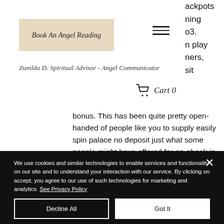[Figure (logo): Book An Angel Reading logo in italic serif font on a beige/tan background box]
Zunilda D. Spiritual Advisor - Angel Communicator
Cart 0
bonus. This has been quite pretty open-handed of people like you to supply easily spin palace no deposit just what some people might have offered for an ebook in
We use cookies and similar technologies to enable services and functionality on our site and to understand your interaction with our service. By clicking on accept, you agree to our use of such technologies for marketing and analytics. See Privacy Policy
Decline All
Got It
Cookies